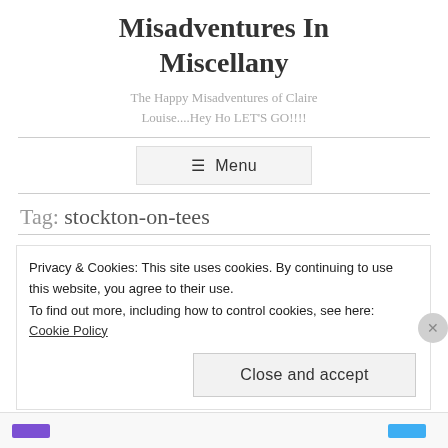Misadventures In Miscellany
The Happy Misadventures of Claire Louise....Hey Ho LET'S GO!!!!
≡ Menu
Tag: stockton-on-tees
Privacy & Cookies: This site uses cookies. By continuing to use this website, you agree to their use.
To find out more, including how to control cookies, see here: Cookie Policy
Close and accept